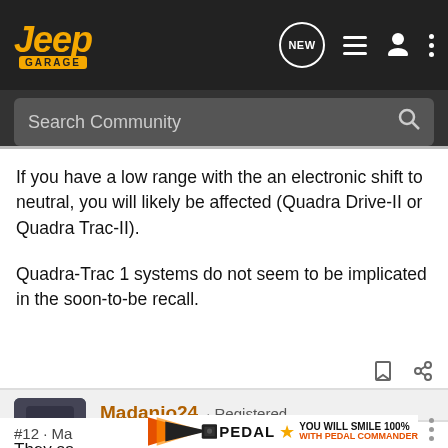[Figure (screenshot): Jeep Garage forum navigation bar with logo, NEW button, list icon, user icon, and dots menu]
[Figure (screenshot): Search Community search bar]
If you have a low range with the an electronic shift to neutral, you will likely be affected (Quadra Drive-II or Quadra Trac-II).
Quadra-Trac 1 systems do not seem to be implicated in the soon-to-be recall.
Madanio24 · Registered
Jeep wk
Joined Jan 12, 2012 · 2,015 Posts
#12 · Ma...
[Figure (screenshot): Pedal Commander advertisement banner: YOU WILL SMILE 100% WITH PEDAL COMMANDER]
They sa...